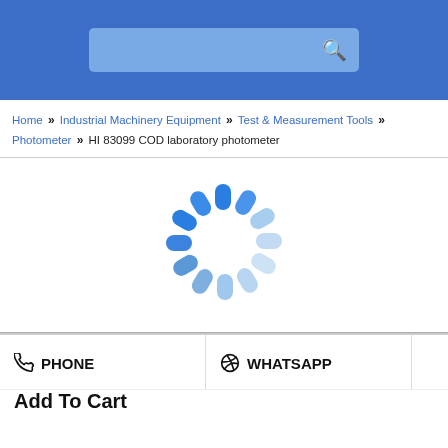[Figure (screenshot): Blue header bar with search input box and search icon]
Home » Industrial Machinery Equipment » Test & Measurement Tools » Photometer » HI 83099 COD laboratory photometer
[Figure (other): Loading spinner animation — circular arrangement of blue rounded rectangles fading from dark blue to light blue]
☎ PHONE
⊙ WHATSAPP
Add To Cart